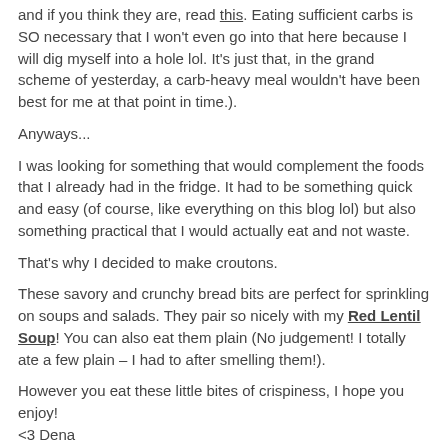and if you think they are, read this. Eating sufficient carbs is SO necessary that I won't even go into that here because I will dig myself into a hole lol. It's just that, in the grand scheme of yesterday, a carb-heavy meal wouldn't have been best for me at that point in time.).
Anyways...
I was looking for something that would complement the foods that I already had in the fridge. It had to be something quick and easy (of course, like everything on this blog lol) but also something practical that I would actually eat and not waste.
That's why I decided to make croutons.
These savory and crunchy bread bits are perfect for sprinkling on soups and salads. They pair so nicely with my Red Lentil Soup! You can also eat them plain (No judgement! I totally ate a few plain – I had to after smelling them!).
However you eat these little bites of crispiness, I hope you enjoy! <3 Dena